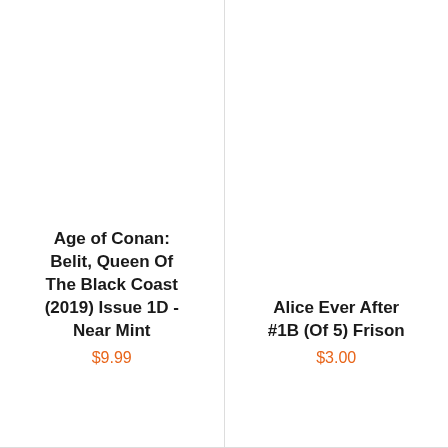Age of Conan: Belit, Queen Of The Black Coast (2019) Issue 1D - Near Mint
$9.99
Alice Ever After #1B (Of 5) Frison
$3.00